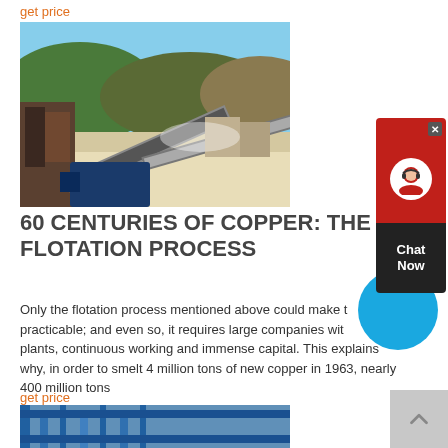get price
[Figure (photo): Aerial view of a copper ore processing plant/flotation facility with conveyor belts, machinery, and industrial equipment set against a hilly landscape with blue sky.]
60 CENTURIES OF COPPER: THE FLOTATION PROCESS
Only the flotation process mentioned above could make this practicable; and even so, it requires large companies with large plants, continuous working and immense capital. This explains why, in order to smelt 4 million tons of new copper in 1963, nearly 400 million tons
get price
[Figure (photo): Partial view of a blue industrial structure or conveyor system at a mining/processing facility.]